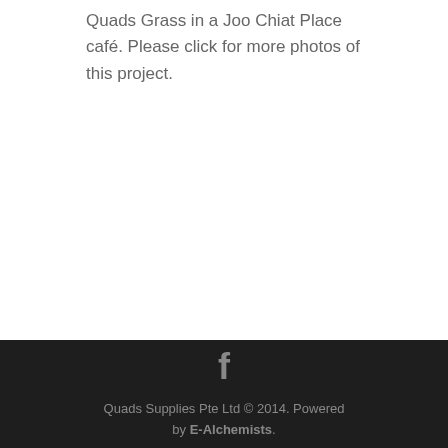Quads Grass in a Joo Chiat Place café. Please click for more photos of this project.
Quads Supplies Pte Ltd © 2014. Powered by E-Alchemists.